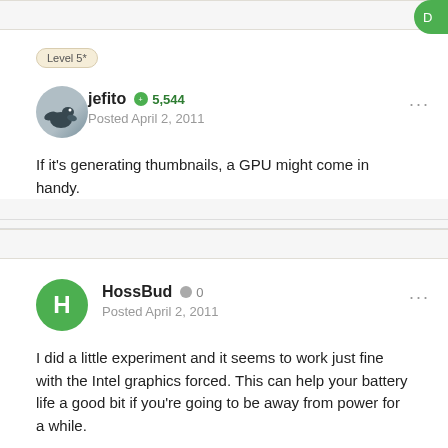Level 5*
jefito  5,544
Posted April 2, 2011
If it's generating thumbnails, a GPU might come in handy.
HossBud  0
Posted April 2, 2011
I did a little experiment and it seems to work just fine with the Intel graphics forced. This can help your battery life a good bit if you're going to be away from power for a while.

The program I found that allows this control is call gfxStatus and you can find it here. The program is free, but he does accept donations if you like